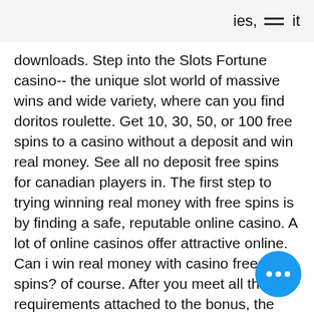ies, it
downloads. Step into the Slots Fortune casino-- the unique slot world of massive wins and wide variety, where can you find doritos roulette. Get 10, 30, 50, or 100 free spins to a casino without a deposit and win real money. See all no deposit free spins for canadian players in. The first step to trying winning real money with free spins is by finding a safe, reputable online casino. A lot of online casinos offer attractive online. Can i win real money with casino free spins? of course. After you meet all the requirements attached to the bonus, the money you have left is yours to keep. Online casino with free spins option. Sweepstakes casinos (known as social casinos) allow you to